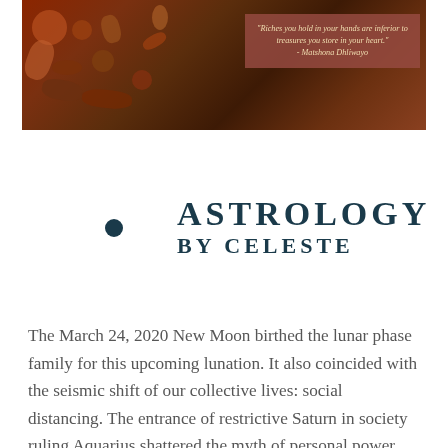[Figure (photo): A decorative top banner image showing various seeds, nuts, and natural objects in warm earth tones (browns, reds, oranges), with a semi-transparent rose/terracotta colored quote box overlaid in the upper right area containing a quote: 'Riches you hold in your hands are inferior to treasures you store in your heart.' - Matshona Dhliwayo]
[Figure (logo): Astrology by Celeste logo featuring a crescent moon with a sun/starburst symbol inside, in teal/dark blue color, next to the text 'ASTROLOGY BY CELESTE' in large spaced serif letters]
The March 24, 2020 New Moon birthed the lunar phase family for this upcoming lunation. It also coincided with the seismic shift of our collective lives: social distancing. The entrance of restrictive Saturn in society ruling Aquarius shattered the myth of personal power and autonomy. How poetic that what began with an Aries New Moon